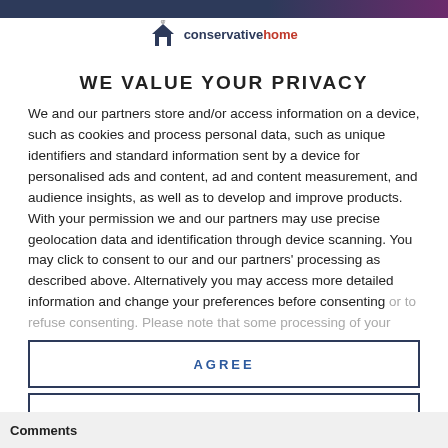[Figure (logo): ConservativeHome logo with house icon and Twitter/social icon above]
WE VALUE YOUR PRIVACY
We and our partners store and/or access information on a device, such as cookies and process personal data, such as unique identifiers and standard information sent by a device for personalised ads and content, ad and content measurement, and audience insights, as well as to develop and improve products. With your permission we and our partners may use precise geolocation data and identification through device scanning. You may click to consent to our and our partners' processing as described above. Alternatively you may access more detailed information and change your preferences before consenting or to refuse consenting. Please note that some processing of your
AGREE
MORE OPTIONS
Comments